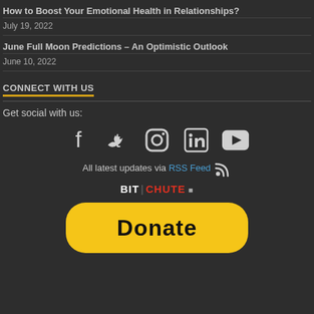How to Boost Your Emotional Health in Relationships?
July 19, 2022
June Full Moon Predictions – An Optimistic Outlook
June 10, 2022
CONNECT WITH US
Get social with us:
[Figure (infographic): Social media icons: Facebook, Twitter, Instagram, LinkedIn, YouTube]
All latest updates via RSS Feed
BITCHUTE
[Figure (other): Donate button (PayPal-style yellow rounded rectangle with Donate text)]